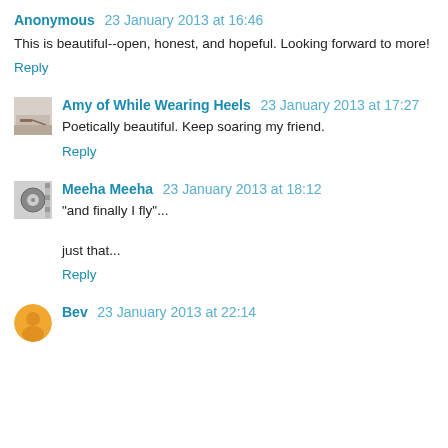Anonymous 23 January 2013 at 16:46
This is beautiful--open, honest, and hopeful. Looking forward to more!
Reply
Amy of While Wearing Heels 23 January 2013 at 17:27
Poetically beautiful. Keep soaring my friend.
Reply
Meeha Meeha 23 January 2013 at 18:12
"and finally I fly"...

just that...
Reply
Bev 23 January 2013 at 22:14